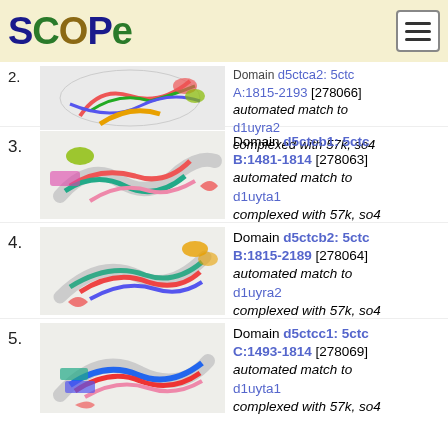SCOPe
[Figure (photo): Protein structure ribbon diagram for domain d5ctca2, entry 2 (partial, top-cropped)]
Domain d5ctca2: 5ctc A:1815-2193 [278066] automated match to d1uyra2 complexed with 57k, so4
[Figure (photo): Protein structure ribbon diagram for domain d5ctcb1, entry 3]
Domain d5ctcb1: 5ctc B:1481-1814 [278063] automated match to d1uyta1 complexed with 57k, so4
[Figure (photo): Protein structure ribbon diagram for domain d5ctcb2, entry 4]
Domain d5ctcb2: 5ctc B:1815-2189 [278064] automated match to d1uyra2 complexed with 57k, so4
[Figure (photo): Protein structure ribbon diagram for domain d5ctcc1, entry 5]
Domain d5ctcc1: 5ctc C:1493-1814 [278069] automated match to d1uyta1 complexed with 57k, so4